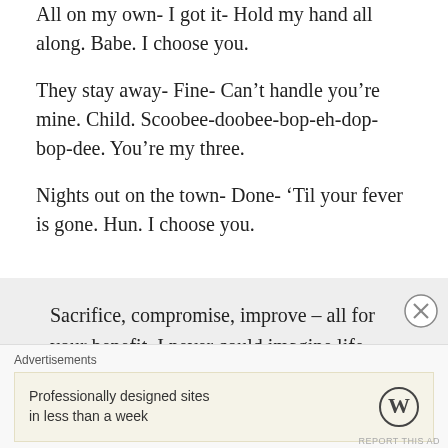All on my own- I got it- Hold my hand all along. Babe. I choose you.
They stay away- Fine- Can't handle you're mine. Child. Scoobee-doobee-bop-eh-dop-bop-dee. You're my three.
Nights out on the town- Done- ‘Til your fever is gone. Hun. I choose you.
Sacrifice, compromise, improve – all for your benefit. I never could imagine life without you in it. Baby, you make it sweeter! Protection, commitment, celebration to lift you up through pain. Loving you without condition means
Advertisements
Professionally designed sites in less than a week